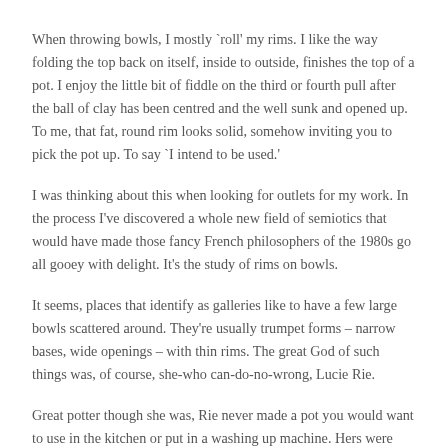When throwing bowls, I mostly `roll' my rims. I like the way folding the top back on itself, inside to outside, finishes the top of a pot. I enjoy the little bit of fiddle on the third or fourth pull after the ball of clay has been centred and the well sunk and opened up. To me, that fat, round rim looks solid, somehow inviting you to pick the pot up. To say `I intend to be used.'
I was thinking about this when looking for outlets for my work. In the process I've discovered a whole new field of semiotics that would have made those fancy French philosophers of the 1980s go all gooey with delight. It's the study of rims on bowls.
It seems, places that identify as galleries like to have a few large bowls scattered around. They're usually trumpet forms – narrow bases, wide openings – with thin rims. The great God of such things was, of course, she-who can-do-no-wrong, Lucie Rie.
Great potter though she was, Rie never made a pot you would want to use in the kitchen or put in a washing up machine. Hers were works of art. They were pots so beautiful I doubt there has ever been a potter who didn't want to make bowls like Lucie's at some point. But you will look